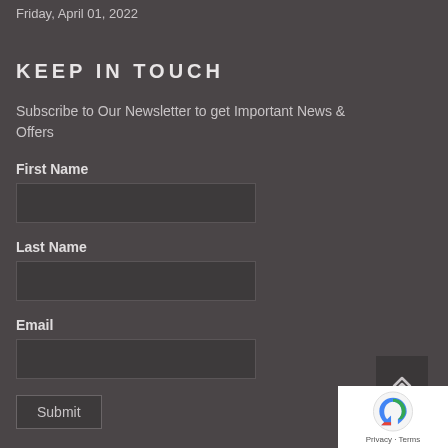Friday, April 01, 2022
KEEP IN TOUCH
Subscribe to Our Newsletter to get Important News & Offers
First Name
Last Name
Email
Submit
[Figure (other): Back to top button with double chevron up arrow icon]
[Figure (other): Google reCAPTCHA widget showing Privacy and Terms links]